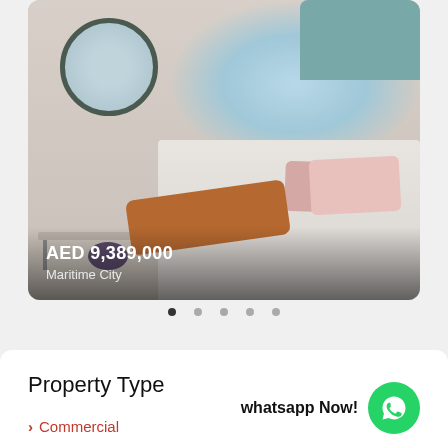[Figure (photo): Bedroom interior with round mirror, desk, purple ottoman, bed with pink pillows and rust-colored blanket, large window with ocean/sea view and light curtains]
AED 9,389,000
Maritime City
Property Type
whatsapp Now!
> Commercial